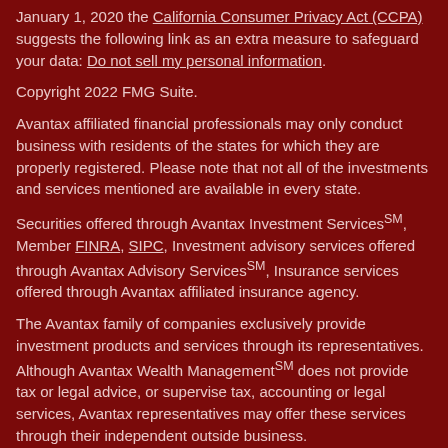January 1, 2020 the California Consumer Privacy Act (CCPA) suggests the following link as an extra measure to safeguard your data: Do not sell my personal information.
Copyright 2022 FMG Suite.
Avantax affiliated financial professionals may only conduct business with residents of the states for which they are properly registered. Please note that not all of the investments and services mentioned are available in every state.
Securities offered through Avantax Investment ServicesSM, Member FINRA, SIPC, Investment advisory services offered through Avantax Advisory ServicesSM, Insurance services offered through Avantax affiliated insurance agency.
The Avantax family of companies exclusively provide investment products and services through its representatives. Although Avantax Wealth ManagementSM does not provide tax or legal advice, or supervise tax, accounting or legal services, Avantax representatives may offer these services through their independent outside business.